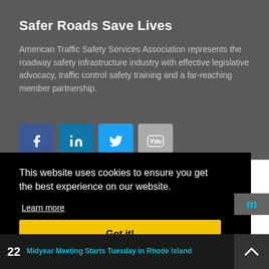Safer Roads Save Lives
American Traffic Safety Services Association represents the roadway safety infrastructure industry with effective legislative advocacy, traffic control safety training and a far-reaching member partnership.
[Figure (other): Social media icon buttons: Facebook (blue), LinkedIn (medium blue), Twitter (light blue), YouTube (gray)]
This website uses cookies to ensure you get the best experience on our website.
Learn more
Got it!
Midyear Meeting Starts Tuesday in Rhode Island